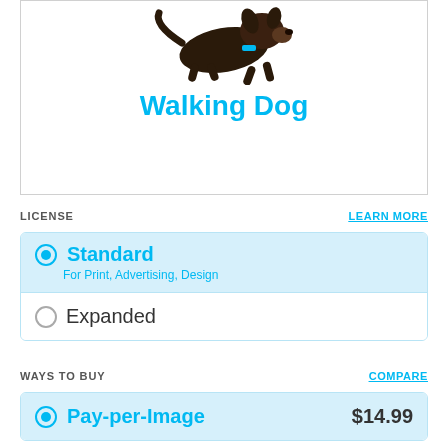[Figure (illustration): Walking dog illustration with dark brown/black dog running, wearing a blue accessory, with cyan 'Walking Dog' title text below]
LICENSE    LEARN MORE
Standard – For Print, Advertising, Design (selected radio button)
Expanded (unselected radio button)
WAYS TO BUY    COMPARE
Pay-per-Image  $14.99 (selected radio button)